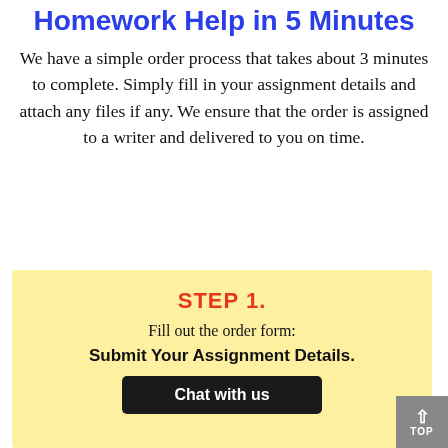Homework Help in 5 Minutes
We have a simple order process that takes about 3 minutes to complete. Simply fill in your assignment details and attach any files if any. We ensure that the order is assigned to a writer and delivered to you on time.
STEP 1.
Fill out the order form:
Submit Your Assignment Details.
Chat with us